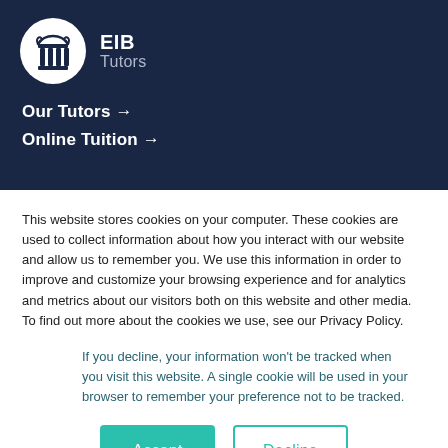[Figure (logo): EIB Tutors logo: white circle with a classical column/pillar icon in dark navy, next to text 'EIB' in bold white and 'Tutors' in light gray]
Our Tutors →
Online Tuition →
This website stores cookies on your computer. These cookies are used to collect information about how you interact with our website and allow us to remember you. We use this information in order to improve and customize your browsing experience and for analytics and metrics about our visitors both on this website and other media. To find out more about the cookies we use, see our Privacy Policy.
If you decline, your information won't be tracked when you visit this website. A single cookie will be used in your browser to remember your preference not to be tracked.
Accept   Decline